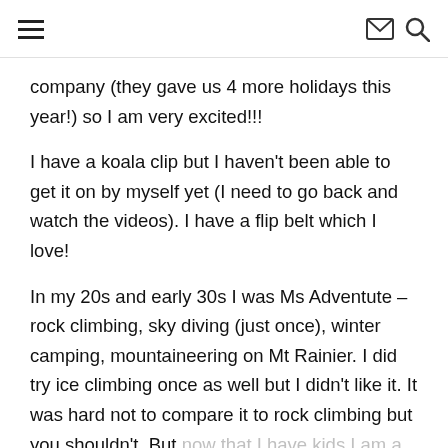≡  ✉ 🔍
company (they gave us 4 more holidays this year!) so I am very excited!!!
I have a koala clip but I haven't been able to get it on by myself yet (I need to go back and watch the videos). I have a flip belt which I love!
In my 20s and early 30s I was Ms Adventute – rock climbing, sky diving (just once), winter camping, mountaineering on Mt Rainier. I did try ice climbing once as well but I didn't like it. It was hard not to compare it to rock climbing but you shouldn't. But now that I have kids I am a wuss and just stick to hiking and regular camping